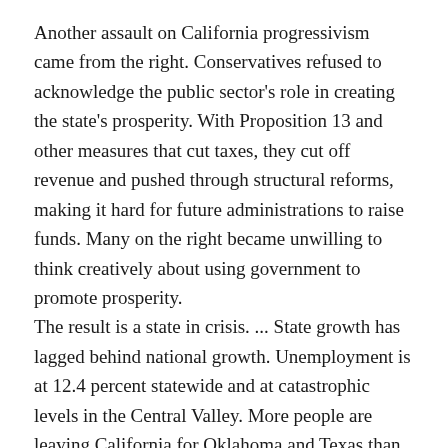Another assault on California progressivism came from the right. Conservatives refused to acknowledge the public sector's role in creating the state's prosperity. With Proposition 13 and other measures that cut taxes, they cut off revenue and pushed through structural reforms, making it hard for future administrations to raise funds. Many on the right became unwilling to think creatively about using government to promote prosperity.
The result is a state in crisis. ... State growth has lagged behind national growth. Unemployment is at 12.4 percent statewide and at catastrophic levels in the Central Valley. More people are leaving California for Oklahoma and Texas than came here during the Dust Bowl days of the 1930s.